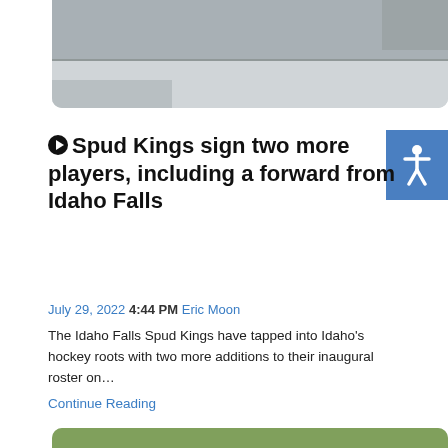[Figure (photo): Partial top image showing a concrete/metal surface background, cropped at top]
▶ Spud Kings sign two more players, including a forward from Idaho Falls
July 29, 2022 4:44 PM Eric Moon
The Idaho Falls Spud Kings have tapped into Idaho's hockey roots with two more additions to their inaugural roster on…
Continue Reading
[Figure (photo): Youth baseball players in red uniforms shaking hands on a green baseball field]